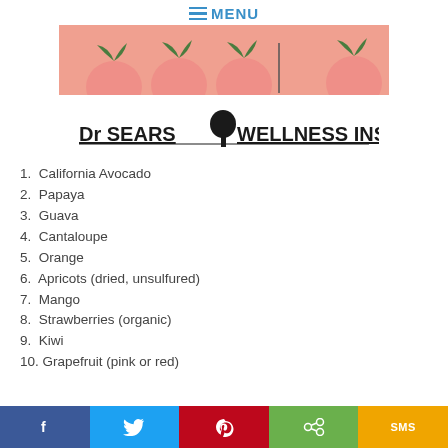MENU
[Figure (logo): Dr Sears Wellness Institute logo with pink tomatoes on pink background above white area with tree icon and underlined text]
1. California Avocado
2. Papaya
3. Guava
4. Cantaloupe
5. Orange
6. Apricots (dried, unsulfured)
7. Mango
8. Strawberries (organic)
9. Kiwi
10. Grapefruit (pink or red)
Social share bar: Facebook, Twitter, Pinterest, Share, SMS